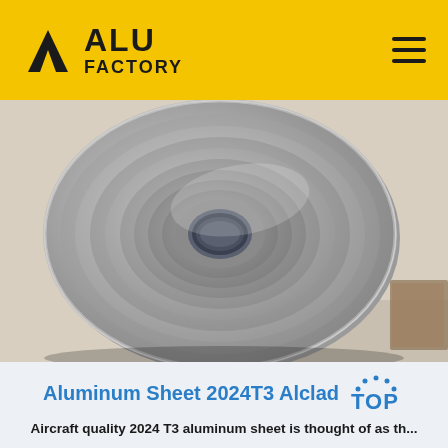ALU FACTORY
[Figure (photo): A large circular aluminum coil/roll viewed from above, sitting on a light-colored surface. The roll has a hollow center core and shows concentric metallic silver rings with a brushed finish.]
Aluminum Sheet 2024T3 Alclad TOP
Aircraft quality 2024 T3 aluminum sheet is thought of as th...